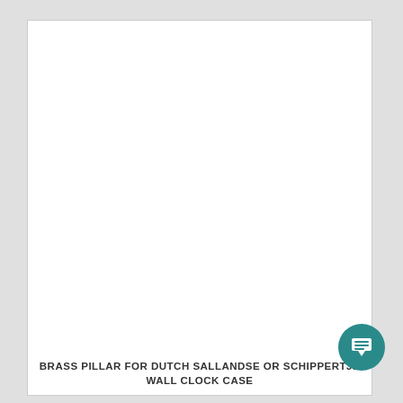[Figure (photo): White empty area representing a product photo placeholder for a brass pillar for Dutch Sallandse or Schippertje wall clock case]
BRASS PILLAR FOR DUTCH SALLANDSE OR SCHIPPERTJE WALL CLOCK CASE